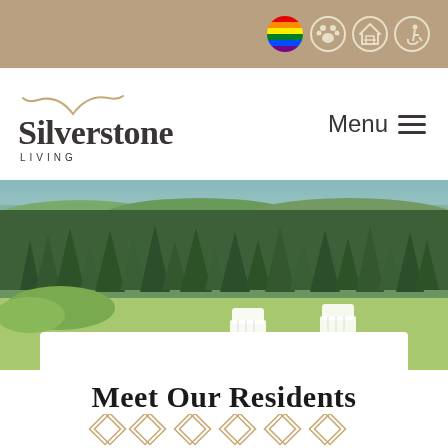Top banner with accessibility and diversity icons
[Figure (logo): Silverstone Living logo with decorative swash, and Menu hamburger button on the right]
[Figure (photo): Outdoor scenic photo showing green forest treeline, open lawn, and two white Adirondack chairs in the foreground]
Meet Our Residents
[Figure (illustration): Decorative diamond/lattice pattern in tan/gold color at the bottom of the page]